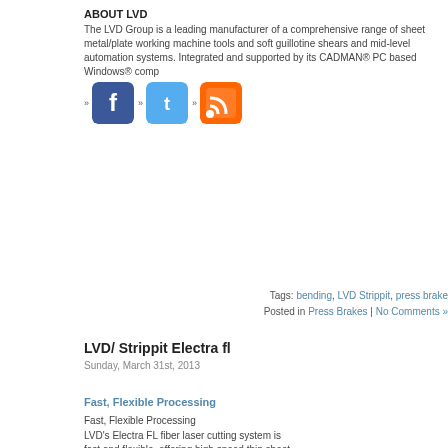ABOUT LVD
The LVD Group is a leading manufacturer of a comprehensive range of sheet metal/plate working machine tools and soft guillotine shears and mid-level automation systems. Integrated and supported by its CADMAN® PC based Windows® comp
[Figure (illustration): Social media icons: Facebook, Twitter, RSS feed]
Tags: bending, LVD Strippit, press brake
Posted in Press Brakes | No Comments »
LVD/ Strippit Electra fl
Sunday, March 31st, 2013
Fast, Flexible Processing
Fast, Flexible Processing
LVD's Electra FL fiber laser cutting system is fast and flexible, offering high speed thin sheet processing, low operating cost and the ability to cut a wide range of ferrous and non-ferrous materials.
Increased beam absorption of the solidstate fiber laser light by the material delivers processing speeds up to twice as fast as a CO2 laser source.
Electra FL is easy to use and operate featuring LVD's touch screen control and user interface, Touch-L. A 19" touch screen and graphical